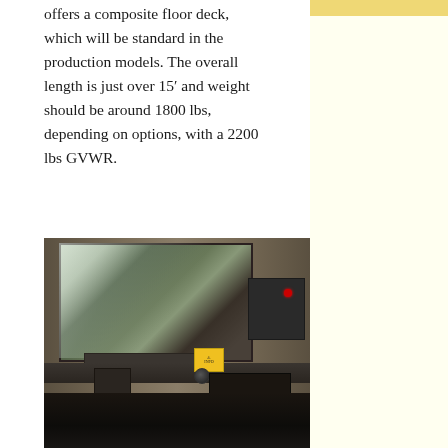offers a composite floor deck, which will be standard in the production models. The overall length is just over 15′ and weight should be around 1800 lbs, depending on options, with a 2200 lbs GVWR.
[Figure (photo): Interior photo of a trailer or vehicle showing wood-paneled walls, a large window/screen on the upper portion, control panels on the right side, a lower storage area or door panel on the left, vents, and a dark floor. A yellow warning tag is visible.]